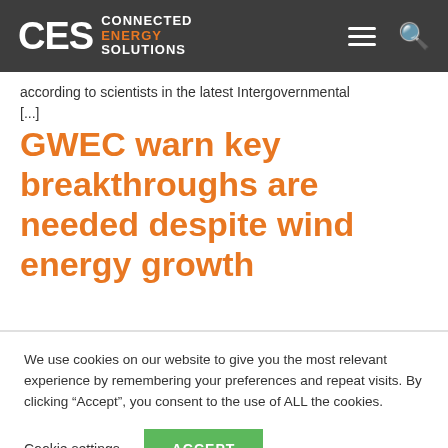CES CONNECTED ENERGY SOLUTIONS
according to scientists in the latest Intergovernmental [...]
GWEC warn key breakthroughs are needed despite wind energy growth
We use cookies on our website to give you the most relevant experience by remembering your preferences and repeat visits. By clicking “Accept”, you consent to the use of ALL the cookies.
Cookie settings | ACCEPT